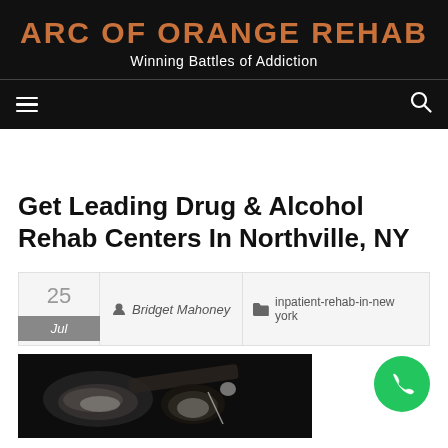ARC OF ORANGE REHAB — Winning Battles of Addiction
Get Leading Drug & Alcohol Rehab Centers In Northville, NY
25 Jul | Bridget Mahoney | inpatient-rehab-in-new york
[Figure (photo): Dark background photo showing drug paraphernalia including powder and a spoon, with a green phone call button overlay]